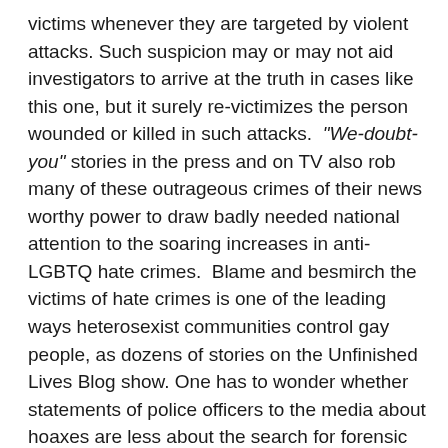victims whenever they are targeted by violent attacks. Such suspicion may or may not aid investigators to arrive at the truth in cases like this one, but it surely re-victimizes the person wounded or killed in such attacks. “We-doubt-you” stories in the press and on TV also rob many of these outrageous crimes of their news worthy power to draw badly needed national attention to the soaring increases in anti-LGBTQ hate crimes. Blame and besmirch the victims of hate crimes is one of the leading ways heterosexist communities control gay people, as dozens of stories on the Unfinished Lives Blog show. One has to wonder whether statements of police officers to the media about hoaxes are less about the search for forensic truth than the desperation of the status quo to stay intact when revelatory events begin to disturb the public.